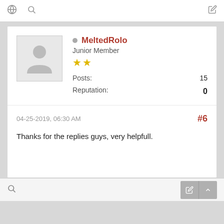🌐 🔍 ✏
MeltedRolo
Junior Member
★★
Posts: 15
Reputation: 0
04-25-2019, 06:30 AM #6
Thanks for the replies guys, very helpfull.
🔍 ✏ ▲